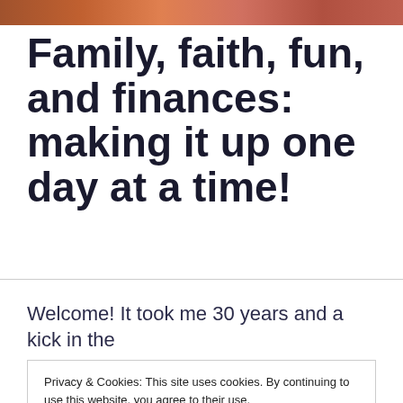Family, faith, fun, and finances: making it up one day at a time!
Welcome! It took me 30 years and a kick in the
Privacy & Cookies: This site uses cookies. By continuing to use this website, you agree to their use.
To find out more, including how to control cookies, see here: Cookie Policy
Close and accept